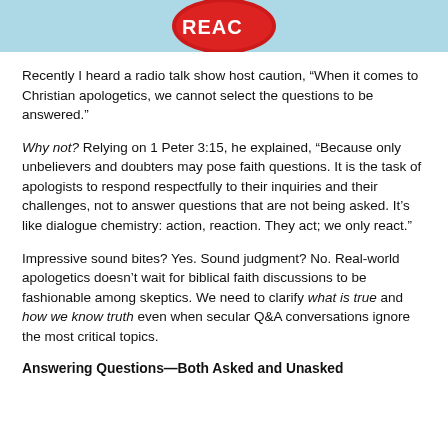[Figure (logo): Partial red logo/banner on light blue background at top of page]
Recently I heard a radio talk show host caution, “When it comes to Christian apologetics, we cannot select the questions to be answered.”
Why not? Relying on 1 Peter 3:15, he explained, “Because only unbelievers and doubters may pose faith questions. It is the task of apologists to respond respectfully to their inquiries and their challenges, not to answer questions that are not being asked. It’s like dialogue chemistry: action, reaction. They act; we only react.”
Impressive sound bites? Yes. Sound judgment? No. Real-world apologetics doesn’t wait for biblical faith discussions to be fashionable among skeptics. We need to clarify what is true and how we know truth even when secular Q&A conversations ignore the most critical topics.
Answering Questions—Both Asked and Unasked